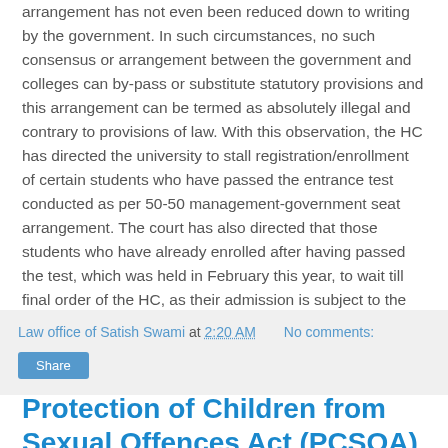arrangement has not even been reduced down to writing by the government. In such circumstances, no such consensus or arrangement between the government and colleges can by-pass or substitute statutory provisions and this arrangement can be termed as absolutely illegal and contrary to provisions of law. With this observation, the HC has directed the university to stall registration/enrollment of certain students who have passed the entrance test conducted as per 50-50 management-government seat arrangement. The court has also directed that those students who have already enrolled after having passed the test, which was held in February this year, to wait till final order of the HC, as their admission is subject to the outcome of final order of this petition.
Law office of Satish Swami at 2:20 AM   No comments:
Share
Protection of Children from Sexual Offences Act (PCSOA)